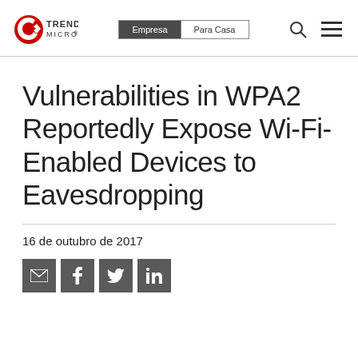Trend Micro — Empresa | Para Casa
Vulnerabilities in WPA2 Reportedly Expose Wi-Fi-Enabled Devices to Eavesdropping
16 de outubro de 2017
[Figure (other): Social sharing buttons: email, Facebook, Twitter, LinkedIn]